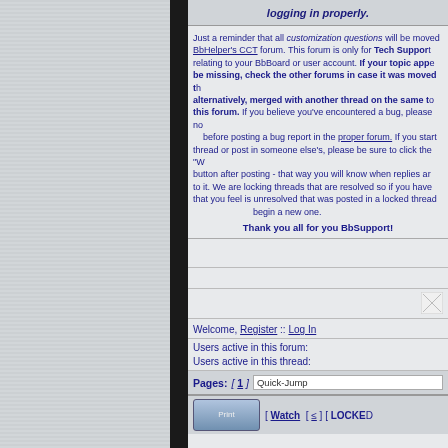logging in properly.
Just a reminder that all customization questions will be moved to BbHelper's CCT forum. This forum is only for Tech Support relating to your BbBoard or user account. If your topic appears to be missing, check the other forums in case it was moved there or, alternatively, merged with another thread on the same topic in this forum. If you believe you've encountered a bug, please read before posting a bug report in the proper forum. If you start a thread or post in someone else's, please be sure to click the button after posting - that way you will know when replies are made to it. We are locking threads that are resolved so if you have one that you feel is unresolved that was posted in a locked thread, begin a new one. Thank you all for you BbSupport!
Welcome, Register :: Log In
Users active in this forum:
Users active in this thread:
Pages: [ 1 ] Quick-Jump
[ Watch [ ≤ ] [ LOCKED